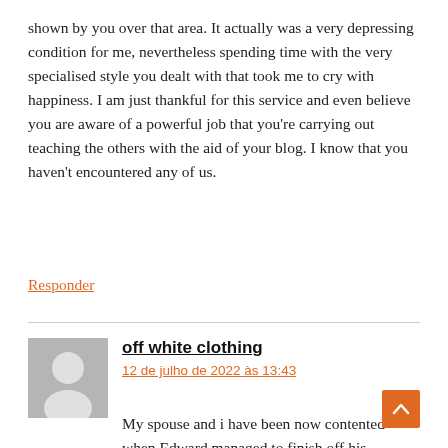shown by you over that area. It actually was a very depressing condition for me, nevertheless spending time with the very specialised style you dealt with that took me to cry with happiness. I am just thankful for this service and even believe you are aware of a powerful job that you're carrying out teaching the others with the aid of your blog. I know that you haven't encountered any of us.
Responder
off white clothing
12 de julho de 2022 às 13:43
My spouse and i have been now contented when Edward managed to finish off his preliminary research from your ideas he got